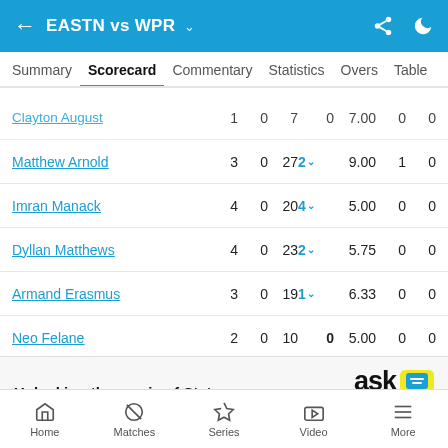EASTN vs WPR
Summary | Scorecard | Commentary | Statistics | Overs | Table
| Player | O | M | R | W | Econ | WD | NB |
| --- | --- | --- | --- | --- | --- | --- | --- |
| Clayton August | 1 | 0 | 7 | 0 | 7.00 | 0 | 0 |
| Matthew Arnold | 3 | 0 | 27 | 2 | 9.00 | 1 | 0 |
| Imran Manack | 4 | 0 | 20 | 4 | 5.00 | 0 | 0 |
| Dyllan Matthews | 4 | 0 | 23 | 2 | 5.75 | 0 | 0 |
| Armand Erasmus | 3 | 0 | 19 | 1 | 6.33 | 0 | 0 |
| Neo Felane | 2 | 0 | 10 | 0 | 5.00 | 0 | 0 |
[Figure (logo): ask cricinfo logo - yellow speech bubble with 'ask' text and blue icon, 'cricinfo' text below]
Unlocking the magic of Statsguru
Home | Matches | Series | Video | More